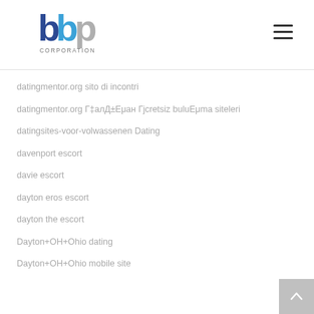[Figure (logo): BBP Corporation logo with blue and grey stylized letters 'bbp' and text 'CORPORATION' below]
datingmentor.org sito di incontri
datingmentor.org Г‡алД±Еμан Гjcretsiz buluЕμma siteleri
datingsites-voor-volwassenen Dating
davenport escort
davie escort
dayton eros escort
dayton the escort
Dayton+OH+Ohio dating
Dayton+OH+Ohio mobile site